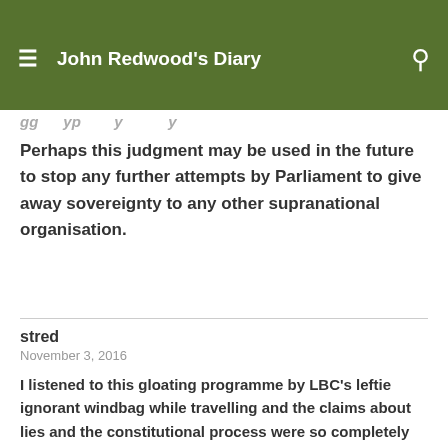John Redwood's Diary
Perhaps this judgment may be used in the future to stop any further attempts by Parliament to give away sovereignty to any other supranational organisation.
stred
November 3, 2016
I listened to this gloating programme by LBC's leftie ignorant windbag while travelling and the claims about lies and the constitutional process were so completely biased that I was glad when I went out of range. It was so annoying that I made a mental note to listen to the adverts and not ever use these products. It doesn't make much difference but make the cortisol level subside.